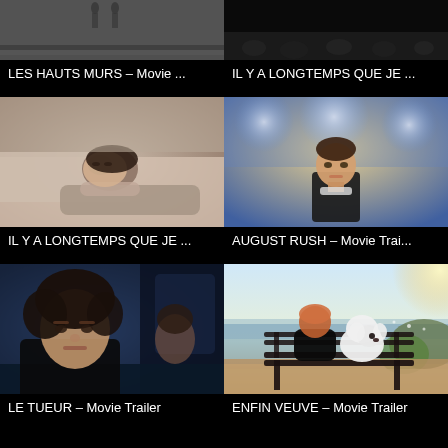[Figure (screenshot): Movie thumbnail for LES HAUTS MURS - partially visible, dark/grainy scene with figures]
LES HAUTS MURS – Movie ...
[Figure (screenshot): Movie thumbnail for IL Y A LONGTEMPS QUE JE - dark audience/theater scene]
IL Y A LONGTEMPS QUE JE ...
[Figure (photo): Woman lying on bed looking contemplative, gray top, dark hair - IL Y A LONGTEMPS QUE JE]
IL Y A LONGTEMPS QUE JE ...
[Figure (photo): Young boy in dark jacket with stage lights behind him - AUGUST RUSH]
AUGUST RUSH – Movie Trai...
[Figure (photo): Man with curly hair in car, dark scene - LE TUEUR]
LE TUEUR – Movie Trailer
[Figure (photo): Woman and white poodle sitting on bench by lake, viewed from behind - ENFIN VEUVE]
ENFIN VEUVE – Movie Trailer